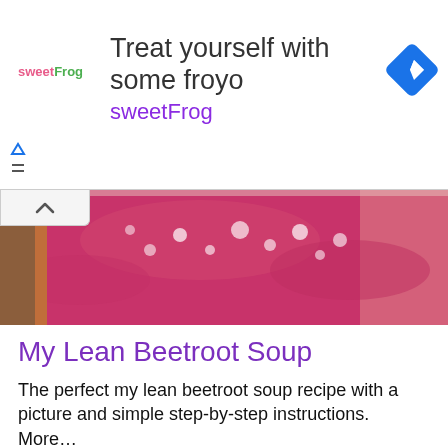[Figure (screenshot): SweetFrog advertisement banner with logo, text 'Treat yourself with some froyo sweetFrog', navigation icon, and ad controls]
[Figure (photo): Close-up of pink/magenta beetroot soup in a white bowl from above]
My Lean Beetroot Soup
The perfect my lean beetroot soup recipe with a picture and simple step-by-step instructions. More…
[Figure (photo): Bowl of red beetroot soup with vegetables and parsley garnish on a striped cloth background]